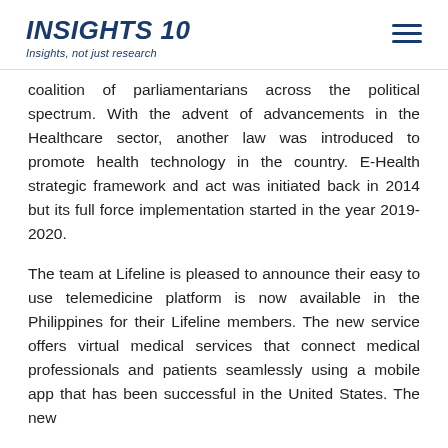INSIGHTS 10 — Insights, not just research
coalition of parliamentarians across the political spectrum. With the advent of advancements in the Healthcare sector, another law was introduced to promote health technology in the country. E-Health strategic framework and act was initiated back in 2014 but its full force implementation started in the year 2019-2020.
The team at Lifeline is pleased to announce their easy to use telemedicine platform is now available in the Philippines for their Lifeline members. The new service offers virtual medical services that connect medical professionals and patients seamlessly using a mobile app that has been successful in the United States. The new